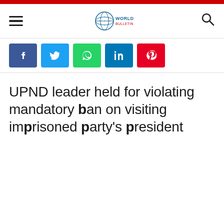World Bulletin - Navigation header with hamburger menu, logo, and search icon
[Figure (logo): World Bulletin globe logo with text WORLD BULLETIN]
UPND leader held for violating mandatory ban on visiting imprisoned party's president